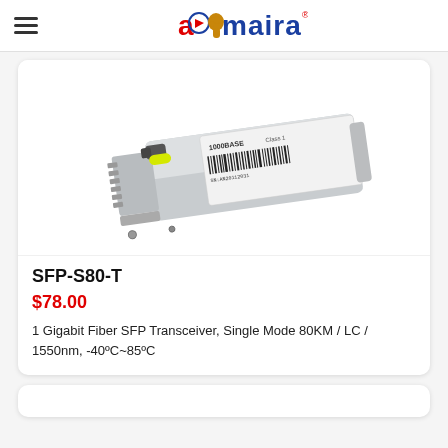amaira (logo)
[Figure (photo): SFP-S80-T fiber transceiver module, silver metallic with yellow pull tab, label showing 1000BASE and Class 1 laser, barcode visible on white label]
SFP-S80-T
$78.00
1 Gigabit Fiber SFP Transceiver, Single Mode 80KM / LC / 1550nm, -40ºC~85ºC